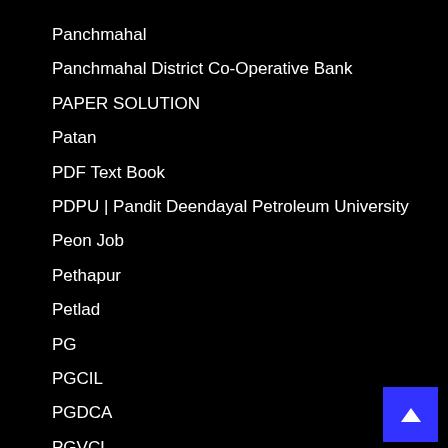Panchmahal
Panchmahal District Co-Operative Bank
PAPER SOLUTION
Patan
PDF Text Book
PDPU | Pandit Deendayal Petroleum University
Peon Job
Pethapur
Petlad
PG
PGCIL
PGDCA
PGVCL
Ph.D
Pharmacist